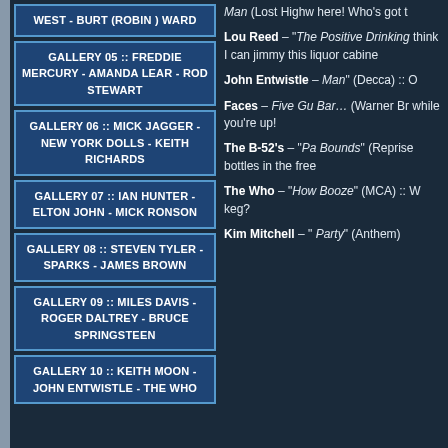WEST - BURT (ROBIN ) WARD
GALLERY 05 :: FREDDIE MERCURY - AMANDA LEAR - ROD STEWART
GALLERY 06 :: MICK JAGGER - NEW YORK DOLLS - KEITH RICHARDS
GALLERY 07 :: IAN HUNTER - ELTON JOHN - MICK RONSON
GALLERY 08 :: STEVEN TYLER - SPARKS - JAMES BROWN
GALLERY 09 :: MILES DAVIS - ROGER DALTREY - BRUCE SPRINGSTEEN
GALLERY 10 :: KEITH MOON - JOHN ENTWISTLE - THE WHO
Man (Lost Highw here! Who's got t
Lou Reed – "The Positive Drinking think I can jimmy this liquor cabine
John Entwistle - Man" (Decca) :: O
Faces – Five Gu Bar… (Warner Br while you're up!
The B-52's – "Pa Bounds" (Reprise bottles in the free
The Who – "How Booze" (MCA) :: W keg?
Kim Mitchell – " Party" (Anthem)